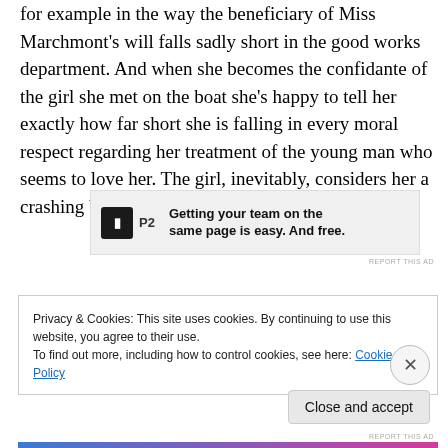for example in the way the beneficiary of Miss Marchmont's will falls sadly short in the good works department. And when she becomes the confidante of the girl she met on the boat she's happy to tell her exactly how far short she is falling in every moral respect regarding her treatment of the young man who seems to love her. The girl, inevitably, considers her a crashing bore,
[Figure (other): Advertisement banner for P2 product: logo box with 'P2' text and tagline 'Getting your team on the same page is easy. And free.']
Privacy & Cookies: This site uses cookies. By continuing to use this website, you agree to their use.
To find out more, including how to control cookies, see here: Cookie Policy
Close and accept